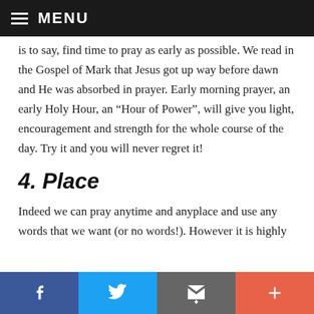MENU
is to say, find time to pray as early as possible. We read in the Gospel of Mark that Jesus got up way before dawn and He was absorbed in prayer. Early morning prayer, an early Holy Hour, an “Hour of Power”, will give you light, encouragement and strength for the whole course of the day. Try it and you will never regret it!
4. Place
Indeed we can pray anytime and anyplace and use any words that we want (or no words!). However it is highly
f  [twitter]  [email]  +